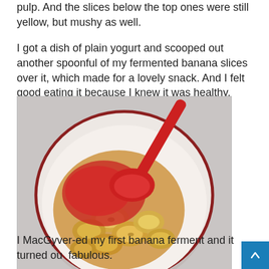pulp. And the slices below the top ones were still yellow, but mushy as well.
I got a dish of plain yogurt and scooped out another spoonful of my fermented banana slices over it, which made for a lovely snack. And I felt good eating it because I knew it was healthy.
[Figure (photo): A bowl with fermented banana slices in liquid/sauce with a red spoon resting in it, viewed from above.]
I MacGyver-ed my first banana ferment and it turned out fabulous.